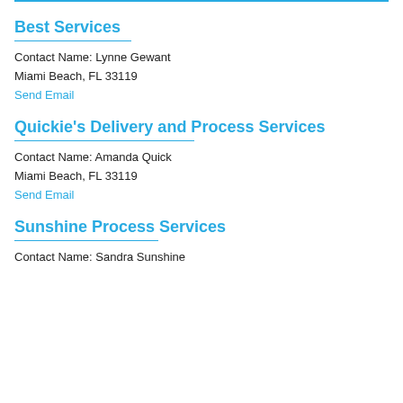Best Services
Contact Name: Lynne Gewant
Miami Beach, FL 33119
Send Email
Quickie's Delivery and Process Services
Contact Name: Amanda Quick
Miami Beach, FL 33119
Send Email
Sunshine Process Services
Contact Name: Sandra Sunshine